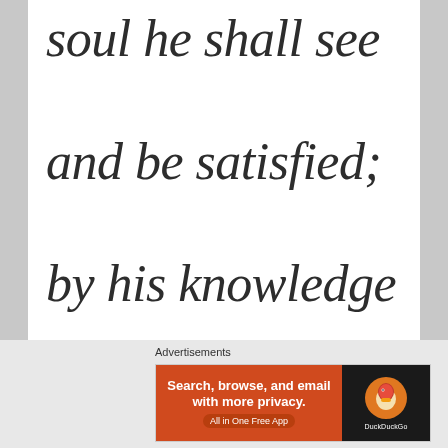soul he shall see and be satisfied; by his knowledge shall the righteous one,
[Figure (infographic): DuckDuckGo advertisement banner with orange background, text 'Search, browse, and email with more privacy. All in One Free App' and DuckDuckGo logo on dark background]